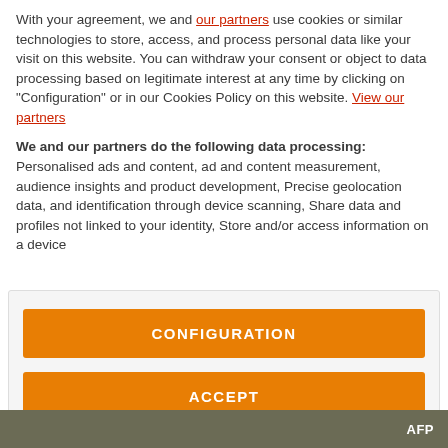With your agreement, we and our partners use cookies or similar technologies to store, access, and process personal data like your visit on this website. You can withdraw your consent or object to data processing based on legitimate interest at any time by clicking on "Configuration" or in our Cookies Policy on this website. View our partners
We and our partners do the following data processing:
Personalised ads and content, ad and content measurement, audience insights and product development, Precise geolocation data, and identification through device scanning, Share data and profiles not linked to your identity, Store and/or access information on a device
[Figure (other): Two orange buttons labeled CONFIGURATION and ACCEPT inside a light gray bordered box]
AFP